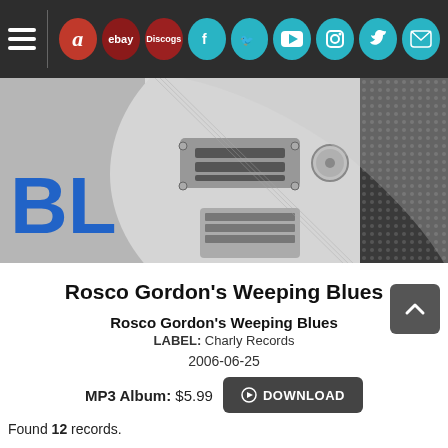[Figure (screenshot): Website navigation bar with hamburger menu, Amazon, eBay, Discogs red icons, and Facebook, Twitter, YouTube, Instagram, TikTok, Email teal social icons]
[Figure (photo): Black and white close-up photograph of an electric guitar body with pickups, tuning knobs, and bridge, with blue 'BLU' text visible on the left side]
Rosco Gordon's Weeping Blues
Rosco Gordon's Weeping Blues
LABEL: Charly Records
2006-06-25
MP3 Album: $5.99  DOWNLOAD
Found 12 records.